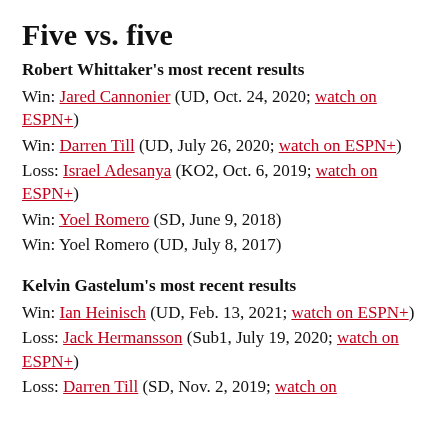Five vs. five
Robert Whittaker's most recent results
Win: Jared Cannonier (UD, Oct. 24, 2020; watch on ESPN+)
Win: Darren Till (UD, July 26, 2020; watch on ESPN+)
Loss: Israel Adesanya (KO2, Oct. 6, 2019; watch on ESPN+)
Win: Yoel Romero (SD, June 9, 2018)
Win: Yoel Romero (UD, July 8, 2017)
Kelvin Gastelum's most recent results
Win: Ian Heinisch (UD, Feb. 13, 2021; watch on ESPN+)
Loss: Jack Hermansson (Sub1, July 19, 2020; watch on ESPN+)
Loss: Darren Till (SD, Nov. 2, 2019; watch on